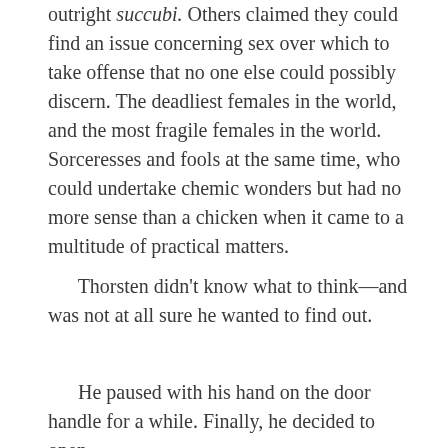outright succubi. Others claimed they could find an issue concerning sex over which to take offense that no one else could possibly discern. The deadliest females in the world, and the most fragile females in the world. Sorceresses and fools at the same time, who could undertake chemic wonders but had no more sense than a chicken when it came to a multitude of practical matters.
Thorsten didn't know what to think—and was not at all sure he wanted to find out.
He paused with his hand on the door handle for a while. Finally, he decided to open